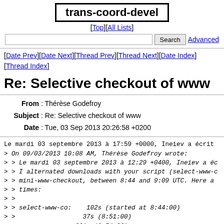trans-coord-devel
[Top][All Lists]
Search  Advanced
[Date Prev][Date Next][Thread Prev][Thread Next][Date Index][Thread Index]
Re: Selective checkout of www
From: Thérèse Godefroy
Subject: Re: Selective checkout of www
Date: Tue, 03 Sep 2013 20:26:58 +0200
Le mardi 03 septembre 2013 à 17:59 +0000, Ineiev a écrit
> On 09/03/2013 10:08 AM, Thérèse Godefroy wrote:
> > Le mardi 03 septembre 2013 à 12:29 +0400, Ineiev a éc
> > I alternated downloads with your script (select-www-c
> > mini-www-checkout, between 8:44 and 9:09 UTC. Here a
> > times:
> >
> > select-www-co:    102s (started at 8:44:00)
> >                   37s (8:51:00)
> >                  201s (8:54:00)